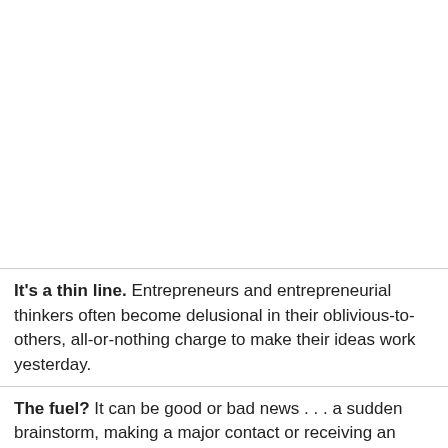It's a thin line. Entrepreneurs and entrepreneurial thinkers often become delusional in their oblivious-to-others, all-or-nothing charge to make their ideas work yesterday.
The fuel? It can be good or bad news . . . a sudden brainstorm, making a major contact or receiving an unexpected investment (or bill), the surfacing of a sticky legal problem, a major family uproar or health issue. Or